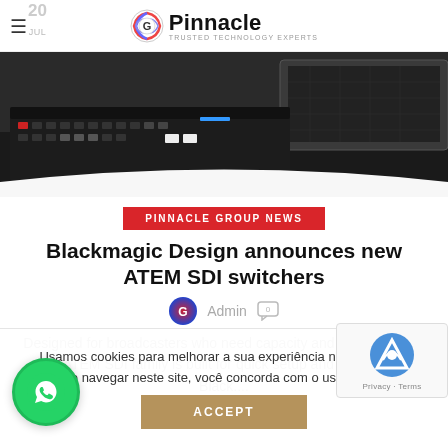G Pinnacle — TRUSTED TECHNOLOGY EXPERTS
[Figure (photo): Photo of a video production switcher/keyboard device and laptop on a desk]
PINNACLE GROUP NEWS
Blackmagic Design announces new ATEM SDI switchers
Admin  0 comments
Designed for broadcasters who need capacity and portability, the new ATEM SDI family is built for quick setup and ease of use. Black....
Usamos cookies para melhorar a sua experiência no nosso site. Ao navegar neste site, você concorda com o uso de coo
ACCEPT